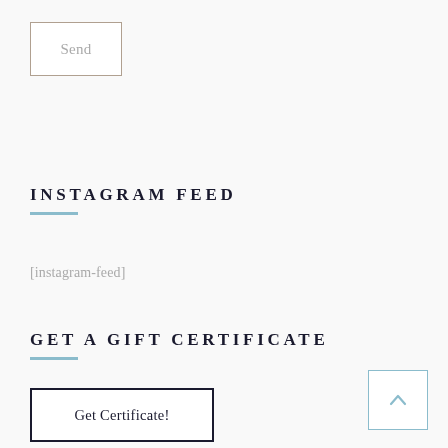Send
INSTAGRAM FEED
[instagram-feed]
GET A GIFT CERTIFICATE
Get Certificate!
[Figure (other): Scroll to top button with upward chevron arrow, light blue border]